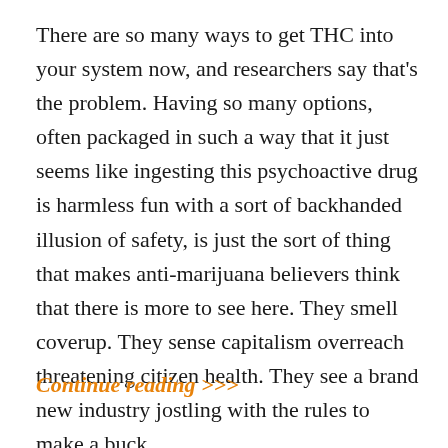There are so many ways to get THC into your system now, and researchers say that's the problem. Having so many options, often packaged in such a way that it just seems like ingesting this psychoactive drug is harmless fun with a sort of backhanded illusion of safety, is just the sort of thing that makes anti-marijuana believers think that there is more to see here. They smell coverup. They sense capitalism overreach threatening citizen health. They see a brand new industry jostling with the rules to make a buck.
Continue reading >>>